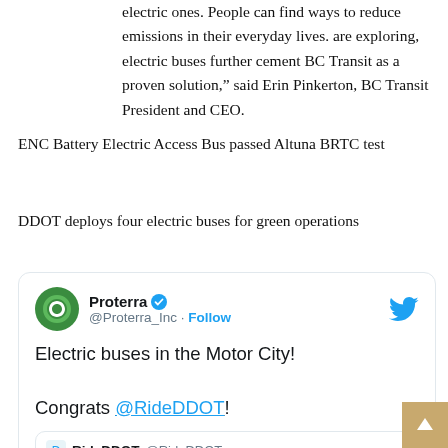electric ones. People can find ways to reduce emissions in their everyday lives. are exploring, electric buses further cement BC Transit as a proven solution,” said Erin Pinkerton, BC Transit President and CEO.
ENC Battery Electric Access Bus passed Altuna BRTC test
DDOT deploys four electric buses for green operations
[Figure (screenshot): Tweet from @Proterra_Inc with verified badge and Twitter logo. Tweet text: 'Electric buses in the Motor City! Congrats @RideDDOT!' with a quoted tweet from RideDDOT @RideDDOT saying 'Happening now: DDOT is electric! DDOT is']